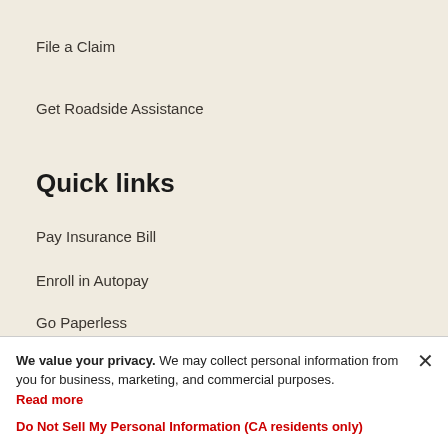File a Claim
Get Roadside Assistance
Quick links
Pay Insurance Bill
Enroll in Autopay
Go Paperless
Get Insurance ID Card
We value your privacy. We may collect personal information from you for business, marketing, and commercial purposes. Read more
Do Not Sell My Personal Information (CA residents only)